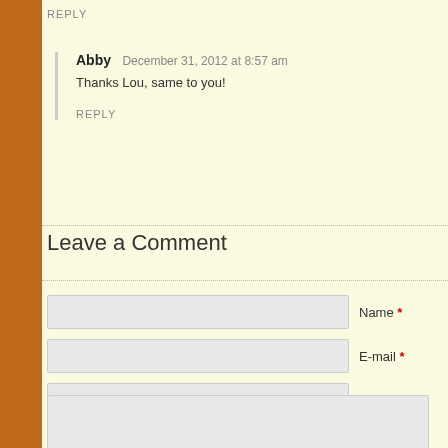REPLY
Abby   December 31, 2012 at 8:57 am
Thanks Lou, same to you!
REPLY
Leave a Comment
Name *
E-mail *
Website